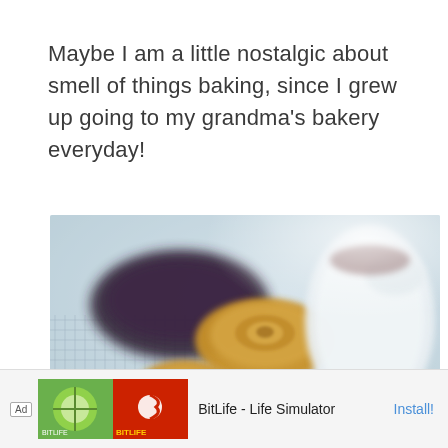Maybe I am a little nostalgic about smell of things baking, since I grew up going to my grandma's bakery everyday!
[Figure (photo): Blurred photo of small golden bundt cakes on a wire cooling rack, with a white ceramic pitcher in the background, soft light background.]
Ad  BitLife - Life Simulator  Install!